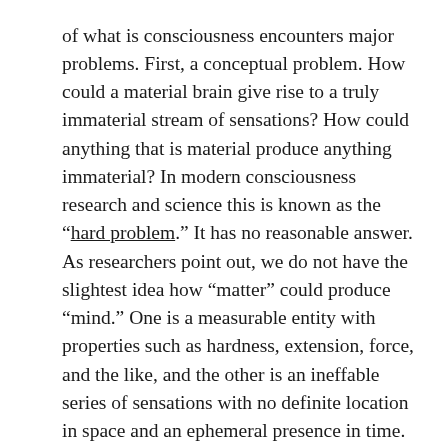of what is consciousness encounters major problems. First, a conceptual problem. How could a material brain give rise to a truly immaterial stream of sensations? How could anything that is material produce anything immaterial? In modern consciousness research and science this is known as the “hard problem.” It has no reasonable answer. As researchers point out, we do not have the slightest idea how “matter” could produce “mind.” One is a measurable entity with properties such as hardness, extension, force, and the like, and the other is an ineffable series of sensations with no definite location in space and an ephemeral presence in time.
Fortunately, the hard problem does not need to be solved: it is not a real problem. There is another possibility: mind is a real element in